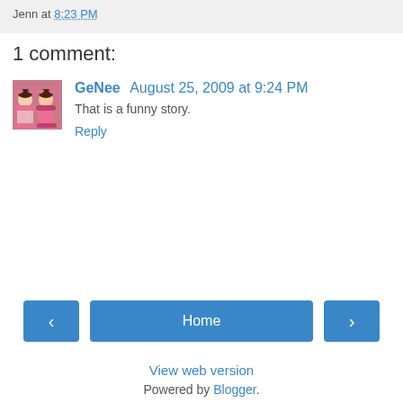Jenn at 8:23 PM
1 comment:
GeNee  August 25, 2009 at 9:24 PM
That is a funny story.
Reply
Home
View web version
Powered by Blogger.